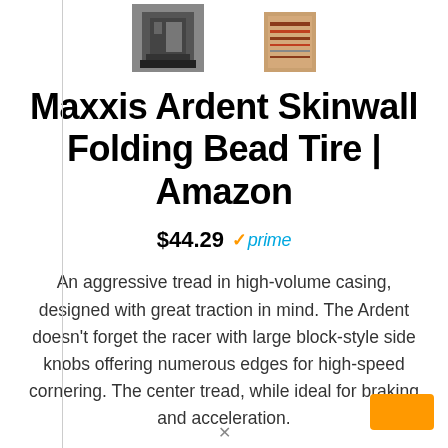[Figure (photo): Product thumbnail images at top of page — left: dark mechanical/camera device, right: tan/wood-colored rectangular item]
Maxxis Ardent Skinwall Folding Bead Tire | Amazon
$44.29 ✓prime
An aggressive tread in high-volume casing, designed with great traction in mind. The Ardent doesn't forget the racer with large block-style side knobs offering numerous edges for high-speed cornering. The center tread, while ideal for braking and acceleration.